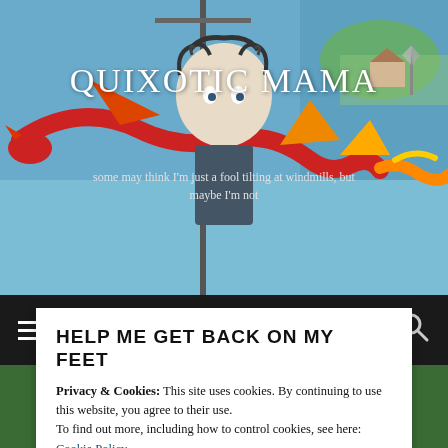[Figure (illustration): Watercolor-style illustration of a figure with dragon and windmill imagery in blue, red, orange and yellow tones — blog header image for Quixotic Mama]
Quixotic Mama
some may think I'm just a fool tilting at windmills, but maybe I'm not
≡ MENU
HELP ME GET BACK ON MY FEET
Privacy & Cookies: This site uses cookies. By continuing to use this website, you agree to their use.
To find out more, including how to control cookies, see here: Cookie Policy
Close and accept